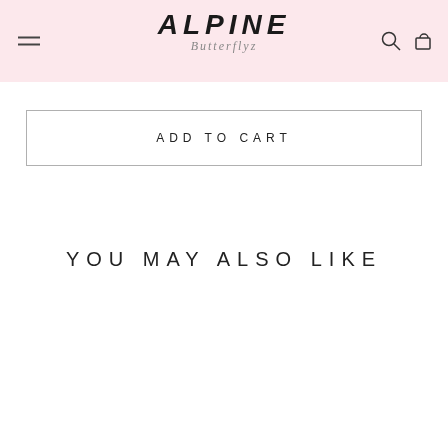ALPINE Butterflyz — navigation header with menu, logo, search and cart icons
ADD TO CART
YOU MAY ALSO LIKE